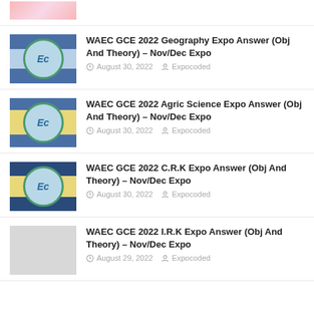WAEC GCE 2022 Geography Expo Answer (Obj And Theory) – Nov/Dec Expo
August 30, 2022  Expocoded
WAEC GCE 2022 Agric Science Expo Answer (Obj And Theory) – Nov/Dec Expo
August 30, 2022  Expocoded
WAEC GCE 2022 C.R.K Expo Answer (Obj And Theory) – Nov/Dec Expo
August 30, 2022  Expocoded
WAEC GCE 2022 I.R.K Expo Answer (Obj And Theory) – Nov/Dec Expo
August 29, 2022  Expocoded